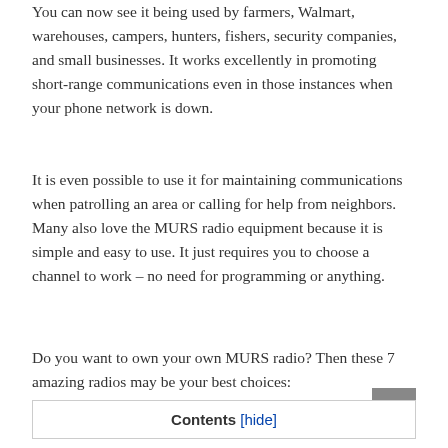You can now see it being used by farmers, Walmart, warehouses, campers, hunters, fishers, security companies, and small businesses. It works excellently in promoting short-range communications even in those instances when your phone network is down.
It is even possible to use it for maintaining communications when patrolling an area or calling for help from neighbors. Many also love the MURS radio equipment because it is simple and easy to use. It just requires you to choose a channel to work – no need for programming or anything.
Do you want to own your own MURS radio? Then these 7 amazing radios may be your best choices:
Contents [hide]